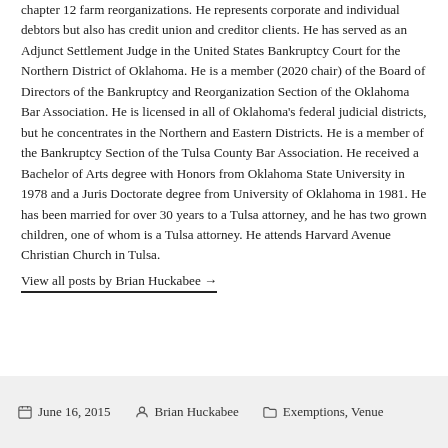chapter 12 farm reorganizations. He represents corporate and individual debtors but also has credit union and creditor clients. He has served as an Adjunct Settlement Judge in the United States Bankruptcy Court for the Northern District of Oklahoma. He is a member (2020 chair) of the Board of Directors of the Bankruptcy and Reorganization Section of the Oklahoma Bar Association. He is licensed in all of Oklahoma's federal judicial districts, but he concentrates in the Northern and Eastern Districts. He is a member of the Bankruptcy Section of the Tulsa County Bar Association. He received a Bachelor of Arts degree with Honors from Oklahoma State University in 1978 and a Juris Doctorate degree from University of Oklahoma in 1981. He has been married for over 30 years to a Tulsa attorney, and he has two grown children, one of whom is a Tulsa attorney. He attends Harvard Avenue Christian Church in Tulsa.
View all posts by Brian Huckabee →
June 16, 2015   Brian Huckabee   Exemptions, Venue